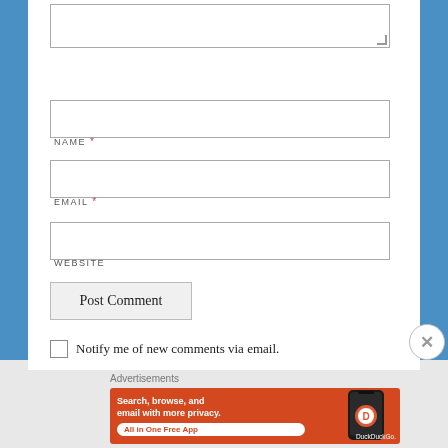[Figure (screenshot): A comment form with Name, Email, Website fields, Post Comment button, and a notify me checkbox. Below is a DuckDuckGo advertisement banner.]
NAME *
EMAIL *
WEBSITE
Post Comment
Notify me of new comments via email.
Advertisements
Search, browse, and email with more privacy. All in One Free App DuckDuckGo.